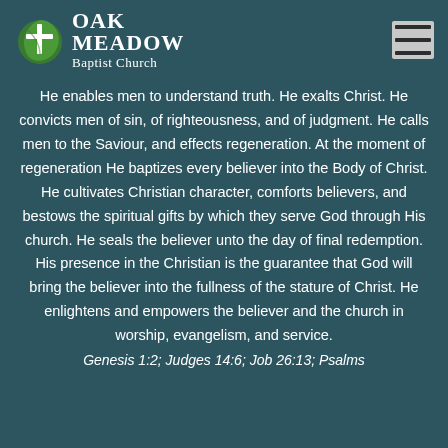[Figure (logo): Oak Meadow Baptist Church logo with green leaf/cross icon and white text]
He enables men to understand truth. He exalts Christ. He convicts men of sin, of righteousness, and of judgment. He calls men to the Saviour, and effects regeneration. At the moment of regeneration He baptizes every believer into the Body of Christ. He cultivates Christian character, comforts believers, and bestows the spiritual gifts by which they serve God through His church. He seals the believer unto the day of final redemption. His presence in the Christian is the guarantee that God will bring the believer into the fullness of the stature of Christ. He enlightens and empowers the believer and the church in worship, evangelism, and service.
Genesis 1:2; Judges 14:6; Job 26:13; Psalms